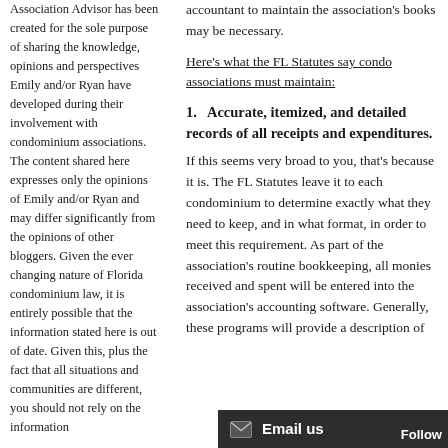Association Advisor has been created for the sole purpose of sharing the knowledge, opinions and perspectives Emily and/or Ryan have developed during their involvement with condominium associations. The content shared here expresses only the opinions of Emily and/or Ryan and may differ significantly from the opinions of other bloggers. Given the ever changing nature of Florida condominium law, it is entirely possible that the information stated here is out of date. Given this, plus the fact that all situations and communities are different, you should not rely on the information
accountant to maintain the association's books may be necessary.
Here's what the FL Statutes say condo associations must maintain:
1. Accurate, itemized, and detailed records of all receipts and expenditures.
If this seems very broad to you, that's because it is. The FL Statutes leave it to each condominium to determine exactly what they need to keep, and in what format, in order to meet this requirement. As part of the association's routine bookkeeping, all monies received and spent will be entered into the association's accounting software. Generally, these programs will provide a description of